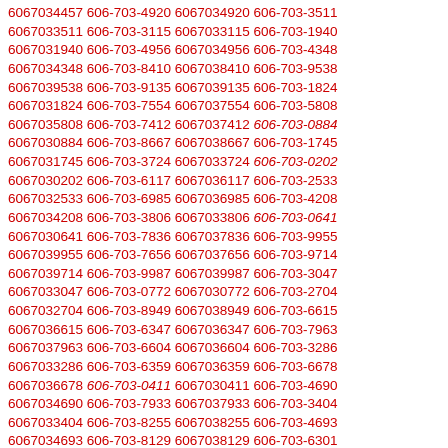6067034457 606-703-4920 6067034920 606-703-3511 6067033511 606-703-3115 6067033115 606-703-1940 6067031940 606-703-4956 6067034956 606-703-4348 6067034348 606-703-8410 6067038410 606-703-9538 6067039538 606-703-9135 6067039135 606-703-1824 6067031824 606-703-7554 6067037554 606-703-5808 6067035808 606-703-7412 6067037412 606-703-0884 6067030884 606-703-8667 6067038667 606-703-1745 6067031745 606-703-3724 6067033724 606-703-0202 6067030202 606-703-6117 6067036117 606-703-2533 6067032533 606-703-6985 6067036985 606-703-4208 6067034208 606-703-3806 6067033806 606-703-0641 6067030641 606-703-7836 6067037836 606-703-9955 6067039955 606-703-7656 6067037656 606-703-9714 6067039714 606-703-9987 6067039987 606-703-3047 6067033047 606-703-0772 6067030772 606-703-2704 6067032704 606-703-8949 6067038949 606-703-6615 6067036615 606-703-6347 6067036347 606-703-7963 6067037963 606-703-6604 6067036604 606-703-3286 6067033286 606-703-6359 6067036359 606-703-6678 6067036678 606-703-0411 6067030411 606-703-4690 6067034690 606-703-7933 6067037933 606-703-3404 6067033404 606-703-8255 6067038255 606-703-4693 6067034693 606-703-8129 6067038129 606-703-6301 6067036301 606-703-2961 6067032961 606-703-2957